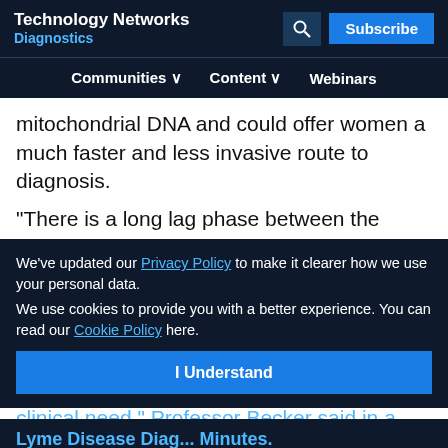Technology Networks Diagnostics
Communities  Content  Webinars
mitochondrial DNA and could offer women a much faster and less invasive route to diagnosis.
"There is a long lag phase between the onset and diagnosis of the disease, mainly due to its non-specific symptoms and because it can only be diagnosed invasively by laparoscopy. A specific, non-invasive test to aid diagnosis of endometriosis is certainly an unmet clinical need," Professor Becker said in a press release of the study.
We've updated our Privacy Policy to make it clearer how we use your personal data.
We use cookies to provide you with a better experience. You can read our Cookie Policy here.
Lyme Disease Diag... Minutes.